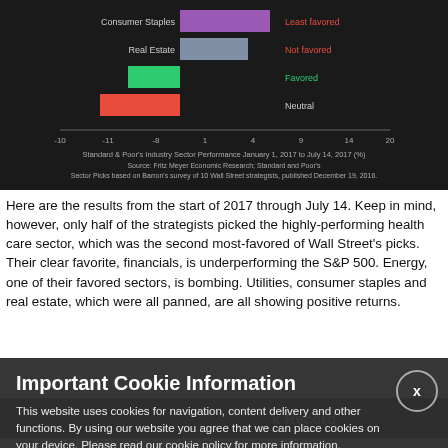[Figure (bar-chart): Horizontal bar chart showing sector performance with color-coded bars for Consumer Staples (purple), Real Estate (gray-blue), Energy (green), Telecom Services (red). Right side labels: Least favored (red), Not favored (red), Favored (green), Neutral. Source: Fritz Meyer Economic Research; Standard and Poor's. Sector Picks based on Barron's survey of 10 Wall Street strategists, published December 19, 2016.]
Here are the results from the start of 2017 through July 14. Keep in mind, however, only half of the strategists picked the highly-performing health care sector, which was the second most-favored of Wall Street's picks. Their clear favorite, financials, is underperforming the S&P 500. Energy, one of their favored sectors, is bombing. Utilities, consumer staples and real estate, which were all panned, are all showing positive returns.
k Record
Important Cookie Information
This website uses cookies for navigation, content delivery and other functions. By using our website you agree that we can place cookies on your device. Please read our cookie policy for more information.